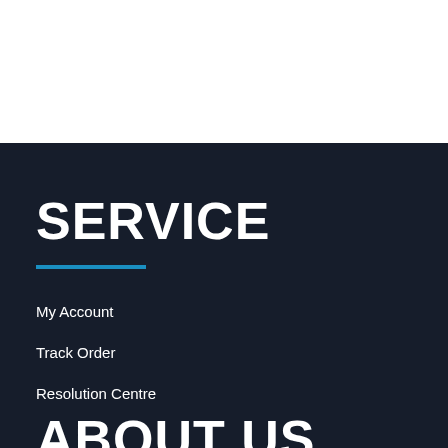SERVICE
My Account
Track Order
Resolution Centre
ABOUT US